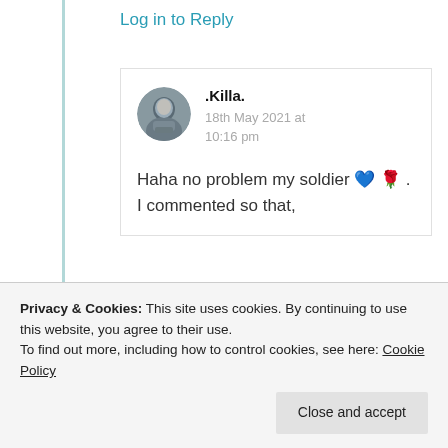Log in to Reply
[Figure (photo): Circular avatar photo of user .Killa. — a person in winter clothing, grey tones]
.Killa.
18th May 2021 at 10:16 pm
Haha no problem my soldier 💙 🌹 . I commented so that,
Privacy & Cookies: This site uses cookies. By continuing to use this website, you agree to their use.
To find out more, including how to control cookies, see here: Cookie Policy
Close and accept